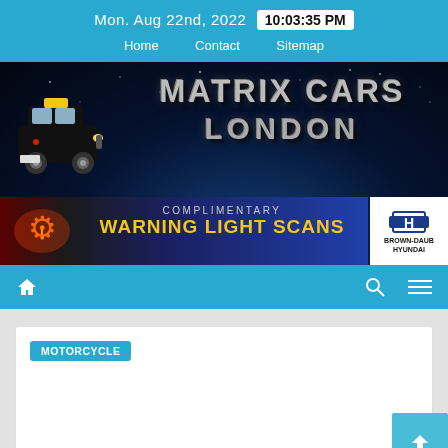Mon. Aug 22nd, 2022  10:03:35 PM
Home  Contact  Sitemap
[Figure (illustration): Matrix Cars London website header banner with a black London taxi cab illustration on the left and 'MATRIX CARS LONDON' text in metallic 3D letters on a dark Earth-from-space background. Below is an advertisement banner reading 'COMPLIMENTARY WARNING LIGHT SCANS' with an engine warning light icon and Brown-Daub Hyundai logo.]
Home (icon)  Search (icon)  Menu (icon)
MOTORCYCLE